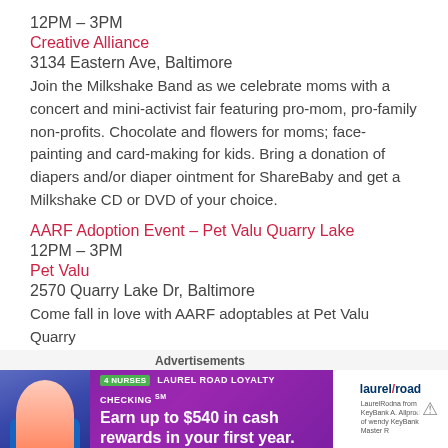12PM – 3PM
Creative Alliance
3134 Eastern Ave, Baltimore
Join the Milkshake Band as we celebrate moms with a concert and mini-activist fair featuring pro-mom, pro-family non-profits. Chocolate and flowers for moms; face-painting and card-making for kids. Bring a donation of diapers and/or diaper ointment for ShareBaby and get a Milkshake CD or DVD of your choice.
AARF Adoption Event – Pet Valu Quarry Lake
12PM – 3PM
Pet Valu
2570 Quarry Lake Dr, Baltimore
Come fall in love with AARF adoptables at Pet Valu Quarry
Advertisements
[Figure (photo): Laurel Road Loyalty Checking advertisement banner — purple background with woman in blue shirt, text 'Earn up to $540 in cash rewards in your first year.']